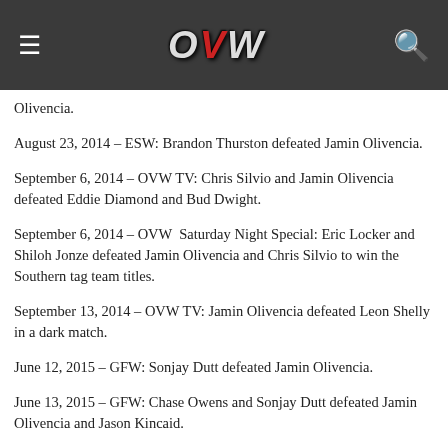OVW
Olivencia.
August 23, 2014 – ESW: Brandon Thurston defeated Jamin Olivencia.
September 6, 2014 – OVW TV: Chris Silvio and Jamin Olivencia defeated Eddie Diamond and Bud Dwight.
September 6, 2014 – OVW Saturday Night Special: Eric Locker and Shiloh Jonze defeated Jamin Olivencia and Chris Silvio to win the Southern tag team titles.
September 13, 2014 – OVW TV: Jamin Olivencia defeated Leon Shelly in a dark match.
June 12, 2015 – GFW: Sonjay Dutt defeated Jamin Olivencia.
June 13, 2015 – GFW: Chase Owens and Sonjay Dutt defeated Jamin Olivencia and Jason Kincaid.